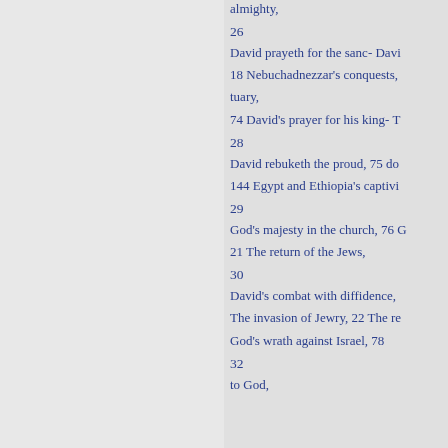almighty,
26
David prayeth for the sanc- Davi
18 Nebuchadnezzar's conquests,
tuary,
74 David's prayer for his king- T
28
David rebuketh the proud, 75 do
144 Egypt and Ethiopia's captivi
29
God's majesty in the church, 76 G
21 The return of the Jews,
30
David's combat with diffidence,
The invasion of Jewry, 22 The re
God's wrath against Israel, 78
32
to God,